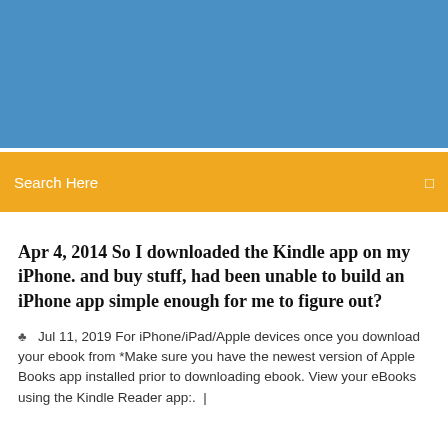[Figure (other): Blue banner header image area]
Search Here
Apr 4, 2014 So I downloaded the Kindle app on my iPhone. and buy stuff, had been unable to build an iPhone app simple enough for me to figure out?
Jul 11, 2019 For iPhone/iPad/Apple devices once you download your ebook from *Make sure you have the newest version of Apple Books app installed prior to downloading ebook. View your eBooks using the Kindle Reader app:.  |